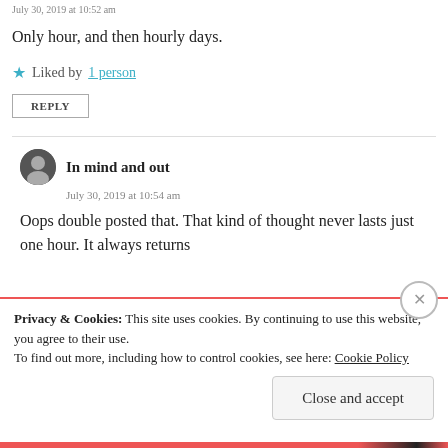July 30, 2019 at 10:52 am
Only hour, and then hourly days.
★ Liked by 1 person
REPLY
In mind and out
July 30, 2019 at 10:54 am
Oops double posted that. That kind of thought never lasts just one hour. It always returns
Privacy & Cookies: This site uses cookies. By continuing to use this website, you agree to their use. To find out more, including how to control cookies, see here: Cookie Policy
Close and accept